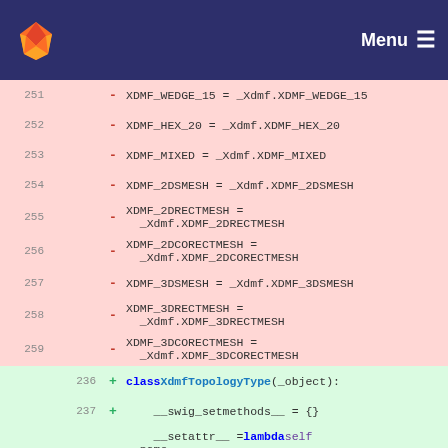[Figure (screenshot): GitLab navigation bar with orange fox logo and Menu hamburger icon on dark blue background]
251  - XDMF_WEDGE_15 = _Xdmf.XDMF_WEDGE_15
252  - XDMF_HEX_20 = _Xdmf.XDMF_HEX_20
253  - XDMF_MIXED = _Xdmf.XDMF_MIXED
254  - XDMF_2DSMESH = _Xdmf.XDMF_2DSMESH
255  - XDMF_2DRECTMESH = _Xdmf.XDMF_2DRECTMESH
256  - XDMF_2DCORECTMESH = _Xdmf.XDMF_2DCORECTMESH
257  - XDMF_3DSMESH = _Xdmf.XDMF_3DSMESH
258  - XDMF_3DRECTMESH = _Xdmf.XDMF_3DRECTMESH
259  - XDMF_3DCORECTMESH = _Xdmf.XDMF_3DCORECTMESH
236  + class XdmfTopologyType(_object):
237  + __swig_setmethods__ = {}
238  + __setattr__ = lambda self, name, value: _swig_setattr(self, XdmfTopologyType, name, value)
239  + __swig_getmethods__ = {}
240  + getattr = lambda self, name;